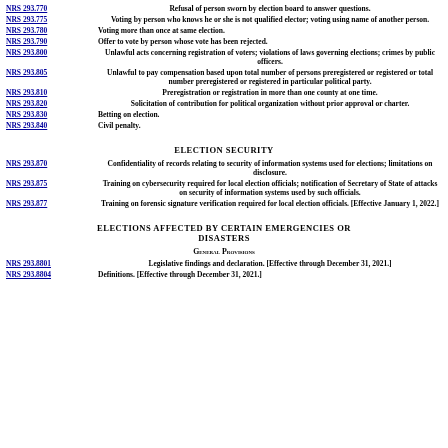NRS 293.770 - Refusal of person sworn by election board to answer questions.
NRS 293.775 - Voting by person who knows he or she is not qualified elector; voting using name of another person.
NRS 293.780 - Voting more than once at same election.
NRS 293.790 - Offer to vote by person whose vote has been rejected.
NRS 293.800 - Unlawful acts concerning registration of voters; violations of laws governing elections; crimes by public officers.
NRS 293.805 - Unlawful to pay compensation based upon total number of persons preregistered or registered or total number preregistered or registered in particular political party.
NRS 293.810 - Preregistration or registration in more than one county at one time.
NRS 293.820 - Solicitation of contribution for political organization without prior approval or charter.
NRS 293.830 - Betting on election.
NRS 293.840 - Civil penalty.
ELECTION SECURITY
NRS 293.870 - Confidentiality of records relating to security of information systems used for elections; limitations on disclosure.
NRS 293.875 - Training on cybersecurity required for local election officials; notification of Secretary of State of attacks on security of information systems used by such officials.
NRS 293.877 - Training on forensic signature verification required for local election officials. [Effective January 1, 2022.]
ELECTIONS AFFECTED BY CERTAIN EMERGENCIES OR DISASTERS
General Provisions
NRS 293.8801 - Legislative findings and declaration. [Effective through December 31, 2021.]
NRS 293.8804 - Definitions. [Effective through December 31, 2021.]